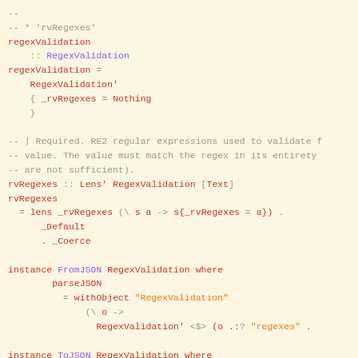-- 
-- * 'rvRegexes'
regexValidation
    :: RegexValidation
regexValidation =
    RegexValidation'
    { _rvRegexes = Nothing
    }

-- | Required. RE2 regular expressions used to validate f
-- value. The value must match the regex in its entirety
-- are not sufficient).
rvRegexes :: Lens' RegexValidation [Text]
rvRegexes
  = lens _rvRegexes (\ s a -> s{_rvRegexes = a}) .
      _Default
      . _Coerce

instance FromJSON RegexValidation where
        parseJSON
          = withObject "RegexValidation"
              (\ o ->
                RegexValidation' <$> (o .:? "regexes" .

instance ToJSON RegexValidation where
        toJSON RegexValidation'{..}
          = object (catMaybes [("regexes" .=) <$> _rvRege

-- | Cloud Dataproc job config.
--